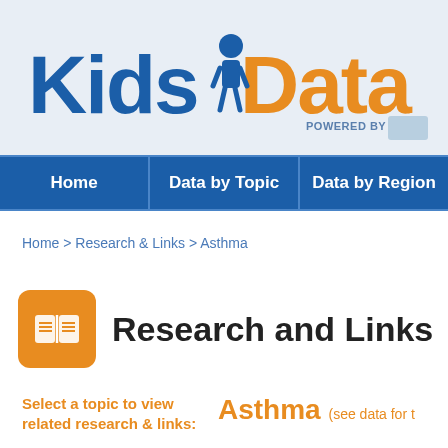[Figure (logo): KidsData logo with person icon between 'Kids' in blue and 'Data' in orange, with 'POWERED BY' text and logo to the right]
Home | Data by Topic | Data by Region
Home > Research & Links > Asthma
Research and Links
Select a topic to view related research & links:
Asthma (see data for t